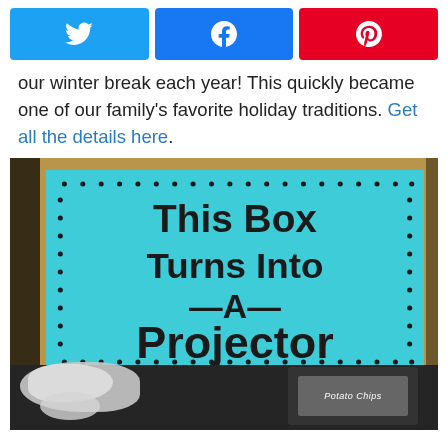[Figure (other): Three social share buttons: Twitter (blue), Facebook (blue), Pinterest (red)]
our winter break each year! This quickly became one of our family's favorite holiday traditions. Get all the details here.
[Figure (photo): A cardboard box with a teal/turquoise paper sign that reads 'This Box Turns Into —A— Projector' with a dotted border. Below the sign are tissue paper and a potato chips bag.]